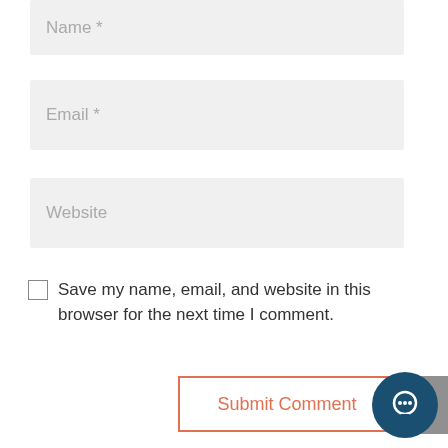[Figure (screenshot): Web form input field with placeholder text 'Name *' on light gray background]
[Figure (screenshot): Web form input field with placeholder text 'Email *' on light gray background]
[Figure (screenshot): Web form input field with placeholder text 'Website' on light gray background]
Save my name, email, and website in this browser for the next time I comment.
[Figure (screenshot): Submit Comment button with orange border and text, scroll-to-top gray button with up arrow, and circular dark blue chat icon]